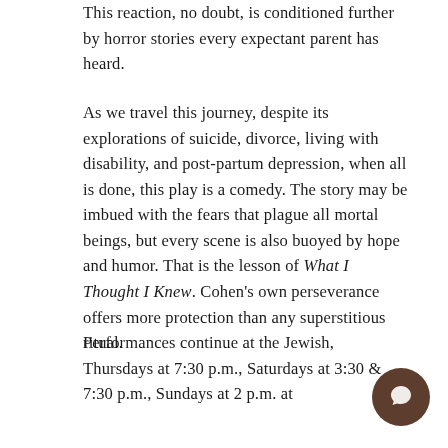This reaction, no doubt, is conditioned further by horror stories every expectant parent has heard.
As we travel this journey, despite its explorations of suicide, divorce, living with disability, and post-partum depression, when all is done, this play is a comedy. The story may be imbued with the fears that plague all mortal beings, but every scene is also buoyed by hope and humor. That is the lesson of What I Thought I Knew. Cohen's own perseverance offers more protection than any superstitious ritual.
Performances continue at the Jewish, Thursdays at 7:30 p.m., Saturdays at 3:30 & 7:30 p.m., Sundays at 2 p.m. at